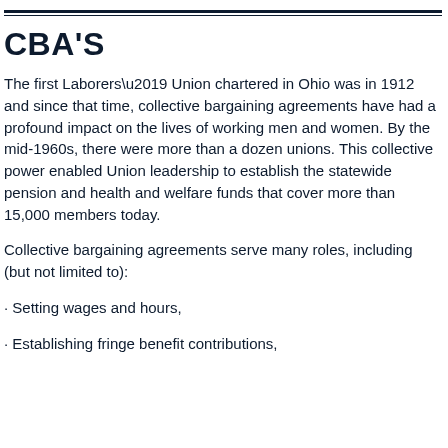CBA'S
The first Laborers’ Union chartered in Ohio was in 1912 and since that time, collective bargaining agreements have had a profound impact on the lives of working men and women. By the mid-1960s, there were more than a dozen unions. This collective power enabled Union leadership to establish the statewide pension and health and welfare funds that cover more than 15,000 members today.
Collective bargaining agreements serve many roles, including (but not limited to):
· Setting wages and hours,
· Establishing fringe benefit contributions,